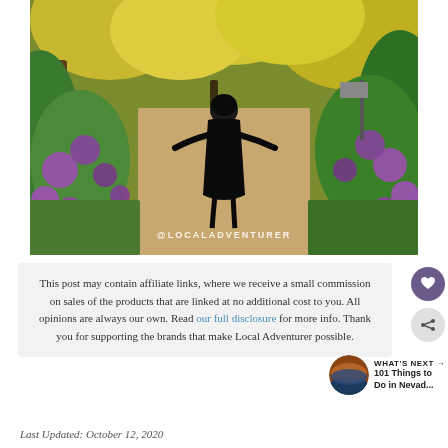[Figure (photo): Woman in black dress walking along a garden path flanked by purple allium flowers and yellow foliage trees. Watermark '@LOCALADVENTURER' at bottom center.]
This post may contain affiliate links, where we receive a small commission on sales of the products that are linked at no additional cost to you. All opinions are always our own. Read our full disclosure for more info. Thank you for supporting the brands that make Local Adventurer possible.
WHAT'S NEXT → 101 Things to Do in Nevad...
Last Updated: October 12, 2020